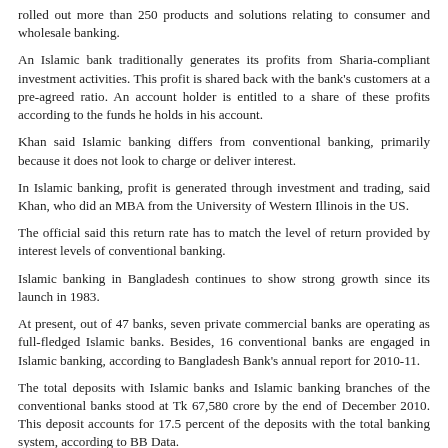rolled out more than 250 products and solutions relating to consumer and wholesale banking.
An Islamic bank traditionally generates its profits from Sharia-compliant investment activities. This profit is shared back with the bank's customers at a pre-agreed ratio. An account holder is entitled to a share of these profits according to the funds he holds in his account.
Khan said Islamic banking differs from conventional banking, primarily because it does not look to charge or deliver interest.
In Islamic banking, profit is generated through investment and trading, said Khan, who did an MBA from the University of Western Illinois in the US.
The official said this return rate has to match the level of return provided by interest levels of conventional banking.
Islamic banking in Bangladesh continues to show strong growth since its launch in 1983.
At present, out of 47 banks, seven private commercial banks are operating as full-fledged Islamic banks. Besides, 16 conventional banks are engaged in Islamic banking, according to Bangladesh Bank's annual report for 2010-11.
The total deposits with Islamic banks and Islamic banking branches of the conventional banks stood at Tk 67,580 crore by the end of December 2010. This deposit accounts for 17.5 percent of the deposits with the total banking system, according to BB Data.